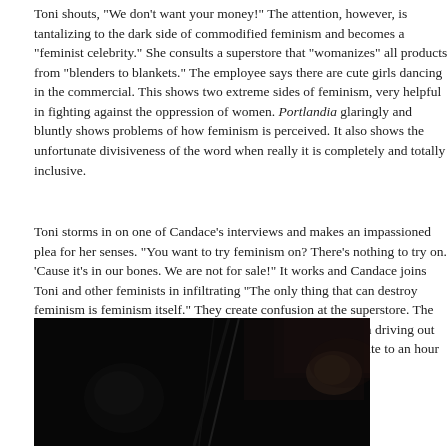Toni shouts, "We don't want your money!" The attention, however, is tantalizing to the dark side of commodified feminism and becomes a "feminist celebrity." She consults a superstore that "womanizes" all products from "blenders to blankets." The employee says there are cute girls dancing in the commercial. This shows two extreme sides of feminism, very helpful in fighting against the oppression of women. Portlandia glaringly and bluntly shows problems of how feminism is perceived. It also shows the unfortunate divisiveness of the word when really it is completely and totally inclusive.
Toni storms in on one of Candace's interviews and makes an impassioned plea for her senses. "You want to try feminism on? There's nothing to try on. 'Cause it's in our bones. We are not for sale!" It works and Candace joins Toni and other feminists in infiltrating "The only thing that can destroy feminism is feminism itself." They create confusion at the superstore. The logo becomes a pregnant vegan holding a cat. They succeed in driving out of their comfort zone where they sell nothing, work a 15-minute to an hour workday, and drink tea.
[Figure (photo): A dark, low-light photograph showing silhouettes of people, possibly inside a vehicle or near a window. The scene is very dark with some faint illumination showing a person's face and surroundings.]